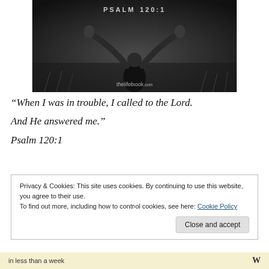[Figure (photo): Black and white photograph of a person with arms raised upward in a field, with text 'PSALM 120:1' overlaid at the top and 'thelifebook.com' watermark at the bottom]
“When I was in trouble, I called to the Lord.

And He answered me.”

Psalm 120:1
Privacy & Cookies: This site uses cookies. By continuing to use this website, you agree to their use.
To find out more, including how to control cookies, see here: Cookie Policy

Close and accept
in less than a week